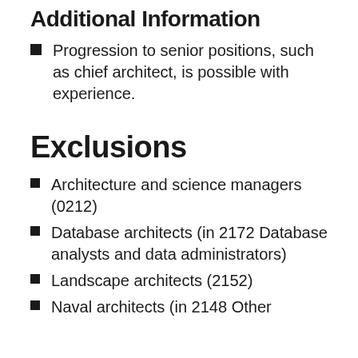Additional Information
Progression to senior positions, such as chief architect, is possible with experience.
Exclusions
Architecture and science managers (0212)
Database architects (in 2172 Database analysts and data administrators)
Landscape architects (2152)
Naval architects (in 2148 Other